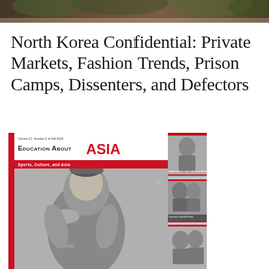[Figure (photo): Top banner photo strip showing outdoor/nature scene in muted colors]
North Korea Confidential: Private Markets, Fashion Trends, Prison Camps, Dissenters, and Defectors
[Figure (photo): Magazine cover of 'Education About Asia' Volume 21 Number 2, Fall 2016, themed 'Sports, Culture, and Asia'. Shows a Chinese athlete holding a trophy cup in grayscale, with three side thumbnail images. Red left stripe and masthead with red 'ASIA' title.]